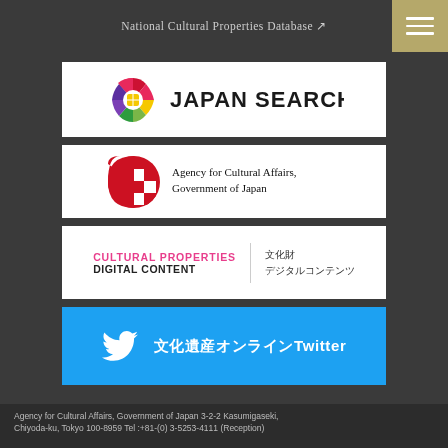National Cultural Properties Database ↗
[Figure (logo): Japan Search logo with colorful circular mosaic icon and text 'JAPAN SEARCH']
[Figure (logo): Agency for Cultural Affairs, Government of Japan logo with red checkered circular icon]
[Figure (logo): Cultural Properties Digital Content logo with Japanese text 文化財 デジタルコンテンツ]
[Figure (logo): Twitter button with bird icon and text 文化遺産オンラインTwitter on blue background]
Agency for Cultural Affairs, Government of Japan 3-2-2 Kasumigaseki, Chiyoda-ku, Tokyo 100-8959 Tel :+81-(0) 3-5253-4111 (Reception)